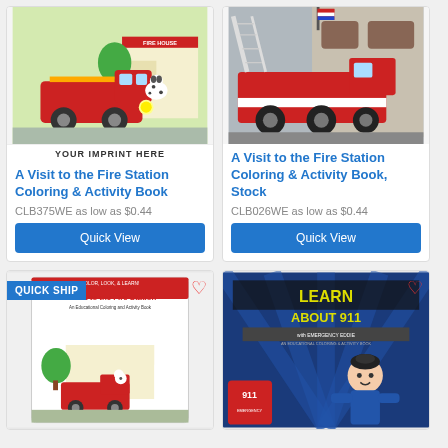[Figure (illustration): Cartoon fire truck with dalmatian dog in front of fire house, book cover for coloring & activity book with 'YOUR IMPRINT HERE' placeholder]
A Visit to the Fire Station Coloring & Activity Book
CLB375WE as low as $0.44
Quick View
[Figure (illustration): Realistic red fire truck with aerial ladder parked in front of fire station]
A Visit to the Fire Station Coloring & Activity Book, Stock
CLB026WE as low as $0.44
Quick View
[Figure (illustration): Book cover: A Visit to the Fire Station, An Educational Coloring and Activity Book, with fire truck and fire house scene. Quick Ship badge shown.]
[Figure (illustration): Book cover: Learn About 911 with Emergency Eddie, An Educational Coloring & Activity Book, blue cover with cartoon character]